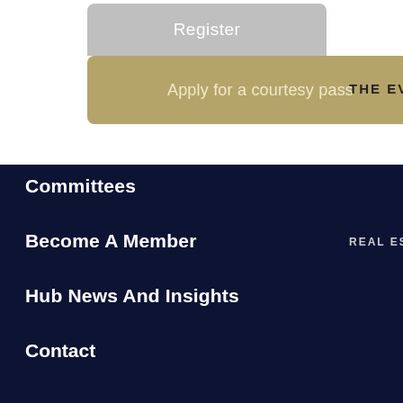Register
Apply for a courtesy pass
THE EVENT   DISCUSSI
Committees
Become A Member
REAL ESTATE | INFRASTRUCTURE
Hub News And Insights
Contact
TERMS AND CONDITIONS
SOCIAL MEDIA
[Figure (illustration): Four social media icon circles in gold outline: LinkedIn, Twitter, YouTube, WhatsApp]
[Figure (illustration): Chat avatar: circular illustration of a person with speech bubbles on blue background]